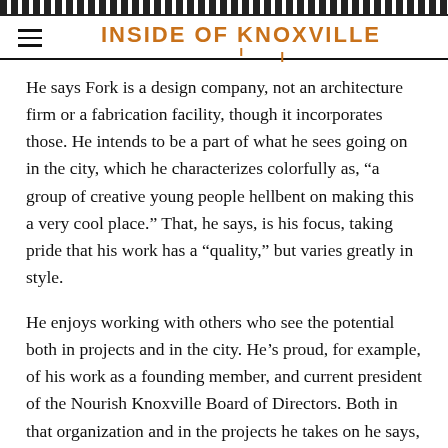INSIDE OF KNOXVILLE
He says Fork is a design company, not an architecture firm or a fabrication facility, though it incorporates those. He intends to be a part of what he sees going on in the city, which he characterizes colorfully as, “a group of creative young people hellbent on making this a very cool place.” That, he says, is his focus, taking pride that his work has a “quality,” but varies greatly in style.
He enjoys working with others who see the potential both in projects and in the city. He’s proud, for example, of his work as a founding member, and current president of the Nourish Knoxville Board of Directors. Both in that organization and in the projects he takes on he says, “I feel like a partner in crime,” as he works with other creative people. He’s looking for team-driven, creative projects and he points out that creativity doesn’t have to come at a financial premium. He simply enjoys working with “interesting people who have a